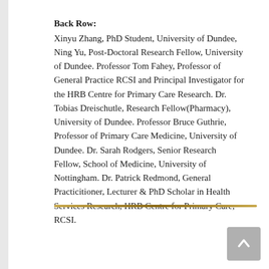Back Row: Xinyu Zhang, PhD Student, University of Dundee, Ning Yu, Post-Doctoral Research Fellow, University of Dundee. Professor Tom Fahey, Professor of General Practice RCSI and Principal Investigator for the HRB Centre for Primary Care Research. Dr. Tobias Dreischutle, Research Fellow(Pharmacy), University of Dundee. Professor Bruce Guthrie, Professor of Primary Care Medicine, University of Dundee. Dr. Sarah Rodgers, Senior Research Fellow, School of Medicine, University of Nottingham. Dr. Patrick Redmond, General Practicitioner, Lecturer & PhD Scholar in Health Services Research, HRB Centre for Primary Care, RCSI.